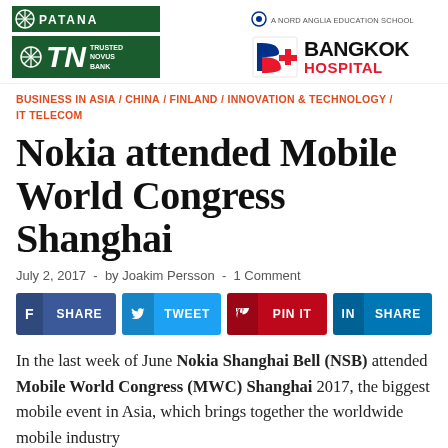[Figure (logo): Patana school logo (green background) and TN Trusted Novus Bank logo (green background with snowflake icon)]
[Figure (logo): Nord Anglia Education School logo and Bangkok Hospital logo (red and dark)]
BUSINESS IN ASIA / CHINA / FINLAND / INNOVATION & TECHNOLOGY / IT TELECOM
Nokia attended Mobile World Congress Shanghai
July 2, 2017 - by Joakim Persson - 1 Comment
[Figure (infographic): Social share buttons: Facebook SHARE, Twitter TWEET, Pinterest PIN IT, LinkedIn SHARE]
In the last week of June Nokia Shanghai Bell (NSB) attended Mobile World Congress (MWC) Shanghai 2017, the biggest mobile event in Asia, which brings together the worldwide mobile industry